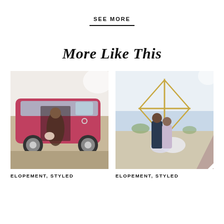SEE MORE
More Like This
[Figure (photo): A couple sitting in the open door of a vintage pink Volkswagen bus, outdoor setting]
ELOPEMENT, STYLED
[Figure (photo): A couple sitting together on the beach in front of a geometric gold diamond arch with flowers]
ELOPEMENT, STYLED